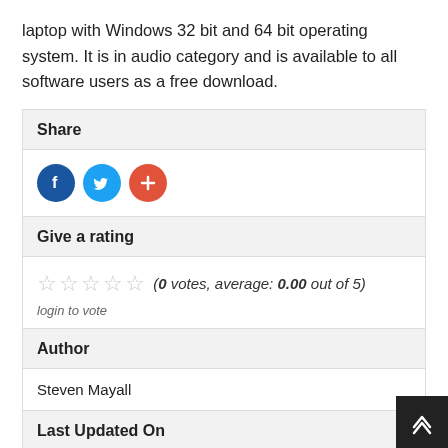laptop with Windows 32 bit and 64 bit operating system. It is in audio category and is available to all software users as a free download.
Share
[Figure (infographic): Social share icons: Facebook (blue circle with F), Twitter (blue circle with bird), and a red circle with a plus sign]
Give a rating
(0 votes, average: 0.00 out of 5)
login to vote
Author
Steven Mayall
Last Updated On
July 28, 2019
Runs on